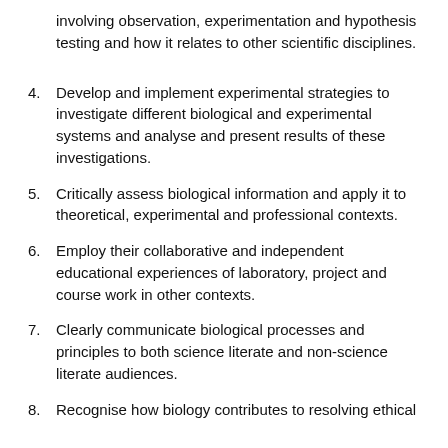involving observation, experimentation and hypothesis testing and how it relates to other scientific disciplines.
4. Develop and implement experimental strategies to investigate different biological and experimental systems and analyse and present results of these investigations.
5. Critically assess biological information and apply it to theoretical, experimental and professional contexts.
6. Employ their collaborative and independent educational experiences of laboratory, project and course work in other contexts.
7. Clearly communicate biological processes and principles to both science literate and non-science literate audiences.
8. Recognise how biology contributes to resolving ethical